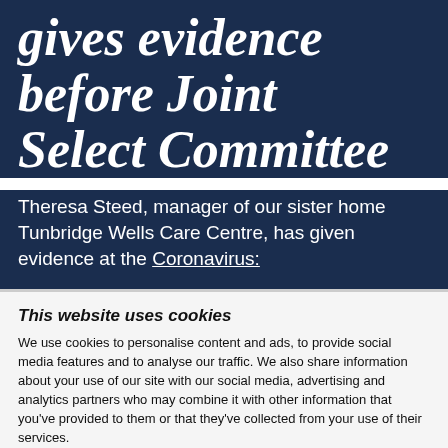gives evidence before Joint Select Committee
Theresa Steed, manager of our sister home Tunbridge Wells Care Centre, has given evidence at the Coronavirus:
This website uses cookies
We use cookies to personalise content and ads, to provide social media features and to analyse our traffic. We also share information about your use of our site with our social media, advertising and analytics partners who may combine it with other information that you've provided to them or that they've collected from your use of their services.
Deny all non-essential cookies
Allow all
Show details